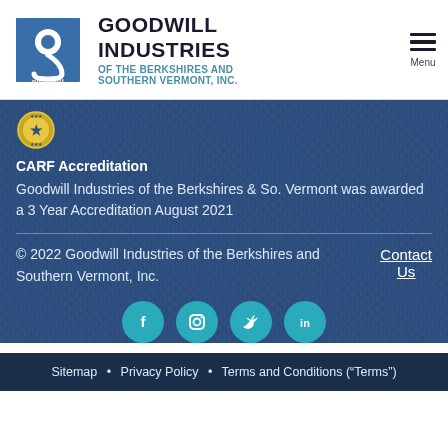[Figure (logo): Goodwill Industries logo — blue square with white 'g' icon and 'goodwill' text below, followed by organization name 'GOODWILL INDUSTRIES OF THE BERKSHIRES AND SOUTHERN VERMONT, INC.' and a hamburger menu icon labeled 'Menu']
[Figure (infographic): CARF accreditation badge (gold star circular seal) on denim blue background]
CARF Accreditation
Goodwill Industries of the Berkshires & So. Vermont was awarded a 3 Year Accreditation August 2021
© 2022 Goodwill Industries of the Berkshires and Southern Vermont, Inc.
Contact Us
[Figure (infographic): Social media icons: Facebook (f), Instagram (camera), Twitter (bird), LinkedIn (in) — teal circular buttons]
Sitemap • Privacy Policy • Terms and Conditions ("Terms")